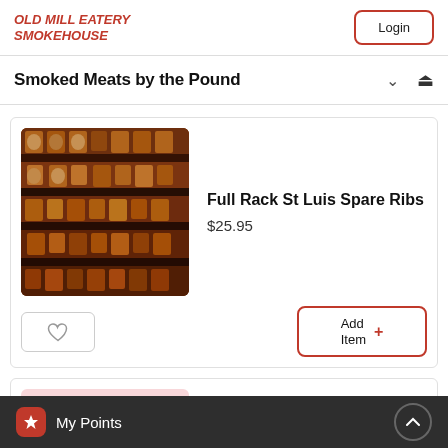[Figure (logo): Old Mill Eatery Smokehouse logo text in red italic bold uppercase]
Login
Smoked Meats by the Pound
[Figure (photo): Photo of full rack St Luis spare ribs, stacked layers of smoked ribs with brown/red crust]
Full Rack St Luis Spare Ribs
$25.95
Add Item +
My Points